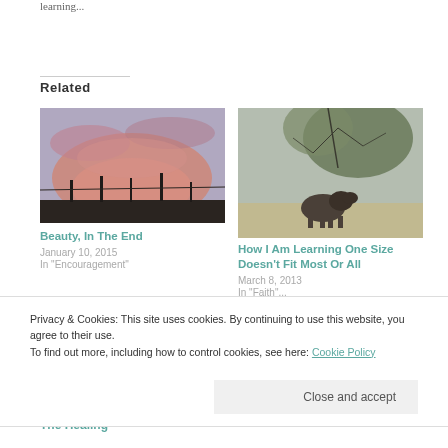learning...
Related
[Figure (photo): Sunset sky with pink and purple clouds, silhouette of trees/power lines at bottom]
Beauty, In The End
January 10, 2015
In "Encouragement"
[Figure (photo): Winter outdoor scene with bare tree branches and dog in foreground, muted tones]
How I Am Learning One Size Doesn't Fit Most Or All
March 8, 2013
In "Faith"...
Privacy & Cookies: This site uses cookies. By continuing to use this website, you agree to their use.
To find out more, including how to control cookies, see here: Cookie Policy
Close and accept
The Healing –